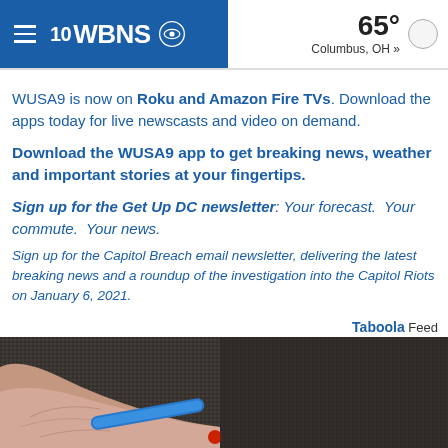10 WBNS CBS — 65° Columbus, OH »
WUSA9 is now on Roku and Amazon Fire TVs. Download the apps today for live newscasts and video on demand.
Download the WUSA9 app to get breaking news, weather and important stories at your fingertips.
Sign up for the Get Up DC newsletter: Your forecast. Your commute. Your news.
Sign up for the Capitol Breach email newsletter, delivering the latest breaking news and a roundup of the investigation into the Capitol Riots on January 6, 2021.
Taboola Feed
[Figure (photo): Close-up photo of a human hand/thumb holding or near a dark surface, with a blue device edge visible]